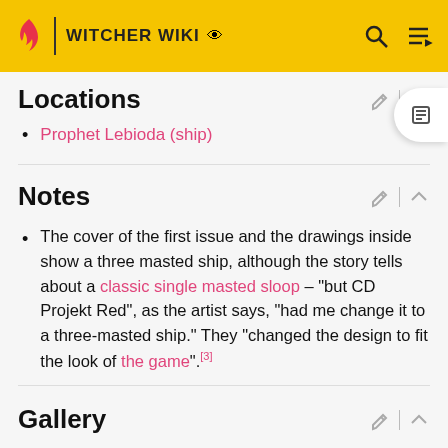WITCHER WIKI
Locations
Prophet Lebioda (ship)
Notes
The cover of the first issue and the drawings inside show a three masted ship, although the story tells about a classic single masted sloop - "but CD Projekt Red", as the artist says, "had me change it to a three-masted ship." They "changed the design to fit the look of the game".[3]
Gallery